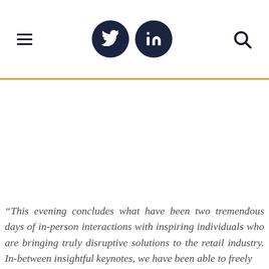Navigation header with hamburger menu, Twitter icon, LinkedIn icon, and search icon
[Figure (other): Large blank white image area below the gold divider line]
“This evening concludes what have been two tremendous days of in-person interactions with inspiring individuals who are bringing truly disruptive solutions to the retail industry. In-between insightful keynotes, we have been able to freely